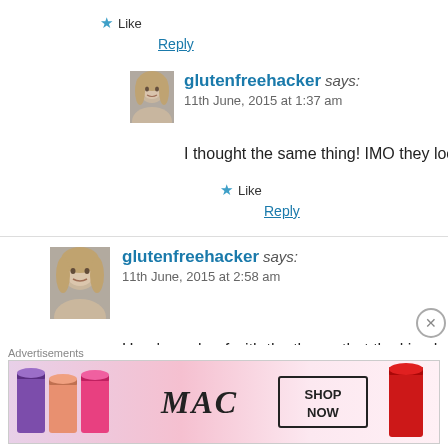★ Like
Reply
[Figure (photo): Avatar photo of glutenfreehacker (small, indented reply)]
glutenfreehacker says:
11th June, 2015 at 1:37 am
I thought the same thing! IMO they look more
★ Like
Reply
[Figure (photo): Avatar photo of glutenfreehacker (second comment)]
glutenfreehacker says:
11th June, 2015 at 2:58 am
Here's my beef with the theory that the king has no
Advertisements
[Figure (photo): MAC Cosmetics advertisement showing lipsticks with SHOP NOW text]